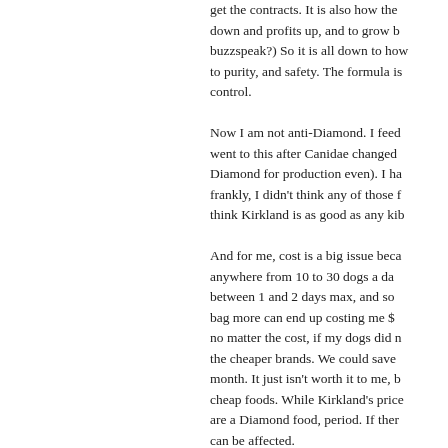get the contracts. It is also how the down and profits up, and to grow b buzzspeak?) So it is all down to how to purity, and safety. The formula is control. Now I am not anti-Diamond. I feed went to this after Canidae changed Diamond for production even). I ha frankly, I didn't think any of those f think Kirkland is as good as any kib And for me, cost is a big issue beca anywhere from 10 to 30 dogs a da between 1 and 2 days max, and so bag more can end up costing me $ no matter the cost, if my dogs did n the cheaper brands. We could save month. It just isn't worth it to me, b cheap foods. While Kirkland's price are a Diamond food, period. If ther can be affected. So far we have not seen any issue